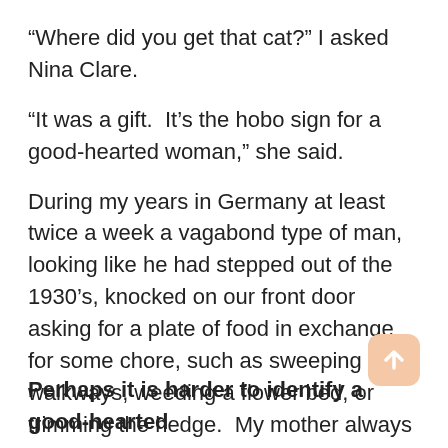“Where did you get that cat?” I asked Nina Clare.
“It was a gift.  It’s the hobo sign for a good-hearted woman,” she said.
During my years in Germany at least twice a week a vagabond type of man, looking like he had stepped out of the 1930’s, knocked on our front door asking for a plate of food in exchange for some chore, such as sweeping the walkways, weeding a flower bed, or trimming the hedge.  My mother always put together a plate of food, and a little more. How times have changed.  Most of us wouldn’t open our doors to a stranger much less give them a plate of food.
Perhaps it is harder to identify a good-hearted